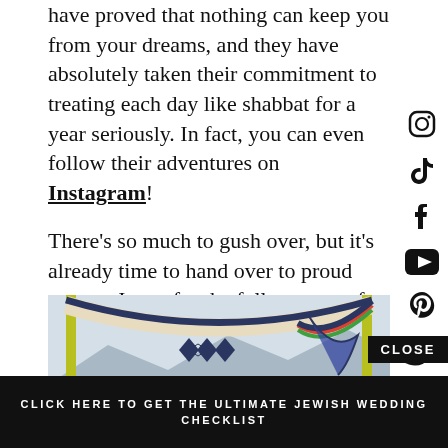have proved that nothing can keep you from your dreams, and they have absolutely taken their commitment to treating each day like shabbat for a year seriously. In fact, you can even follow their adventures on Instagram!
There's so much to gush over, but it's already time to hand over to proud groom, Jesse, for the full account of the day, illustrated with a sensational spread of images by Once Like a Spark.
[Figure (photo): Outdoor wedding chuppah canopy with colorful fabric stretched between yellow poles against a light sky and mountains]
CLOSE
CLICK HERE TO GET THE ULTIMATE JEWISH WEDDING CHECKLIST